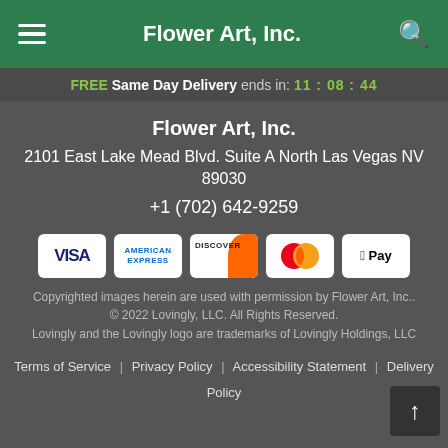Flower Art, Inc.
FREE Same Day Delivery ends in: 11:08:44
Flower Art, Inc.
2101 East Lake Mead Blvd. Suite A North Las Vegas NV 89030
+1 (702) 642-9259
[Figure (infographic): Payment method icons: VISA, American Express, Discover, Mastercard, Apple Pay]
Copyrighted images herein are used with permission by Flower Art, Inc..
© 2022 Lovingly, LLC. All Rights Reserved.
Lovingly and the Lovingly logo are trademarks of Lovingly Holdings, LLC
Terms of Service | Privacy Policy | Accessibility Statement | Delivery Policy